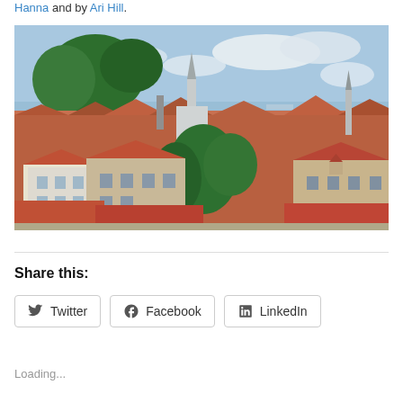Hanna and by Ari Hill.
[Figure (photo): Aerial panoramic view of Tallinn old town with red-tiled rooftops, church spires, green trees in foreground, and sea/sky in background]
Share this:
Twitter
Facebook
LinkedIn
Loading...